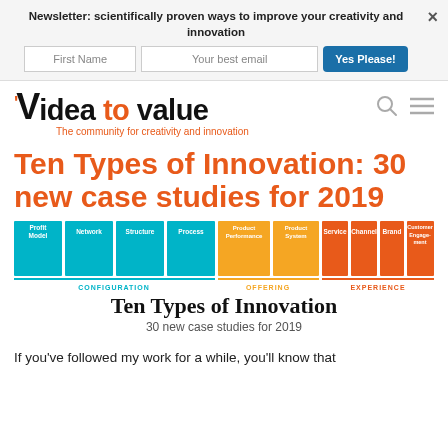Newsletter: scientifically proven ways to improve your creativity and innovation
[Figure (logo): Idea to Value logo with V mark and orange accent. Tagline: The community for creativity and innovation]
Ten Types of Innovation: 30 new case studies for 2019
[Figure (infographic): Ten Types of Innovation framework diagram showing 10 colored boxes: Profit Model, Network, Structure, Process (blue/teal - Configuration), Product Performance, Product System (orange - Offering), Service, Channel, Brand, Customer Engagement (orange - Experience). Text below boxes: CONFIGURATION, OFFERING, EXPERIENCE. Title: Ten Types of Innovation. Subtitle: 30 new case studies for 2019]
If you've followed my work for a while, you'll know that